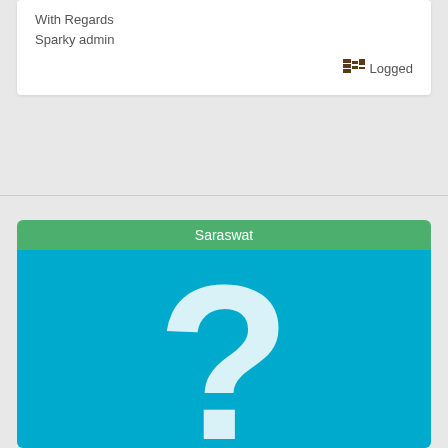With Regards
Sparky admin
Logged
[Figure (screenshot): User profile card with green header showing 'Saraswat' and blue avatar area with a large white question mark icon]
Saraswat